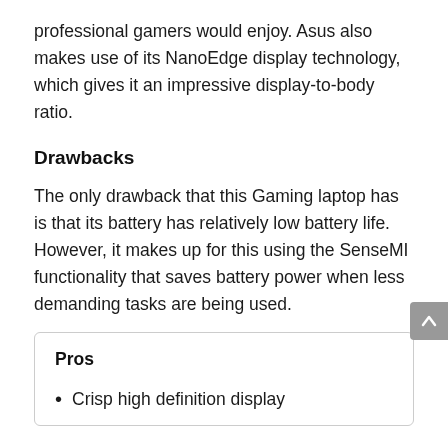professional gamers would enjoy. Asus also makes use of its NanoEdge display technology, which gives it an impressive display-to-body ratio.
Drawbacks
The only drawback that this Gaming laptop has is that its battery has relatively low battery life. However, it makes up for this using the SenseMI functionality that saves battery power when less demanding tasks are being used.
Pros
Crisp high definition display